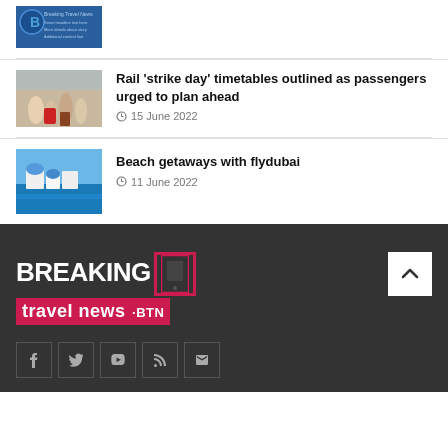[Figure (photo): Partial thumbnail of a logo/branding image with blue background]
[Figure (photo): Photo of passengers with luggage at a train/transit station]
Rail 'strike day' timetables outlined as passengers urged to plan ahead
15 June 2022
[Figure (photo): Photo of Greek island beach scene with white buildings and blue dome]
Beach getaways with flydubai
11 June 2022
[Figure (logo): Breaking Travel News logo with red and white on dark background]
Social media icons: Facebook, Twitter, YouTube, RSS, Email